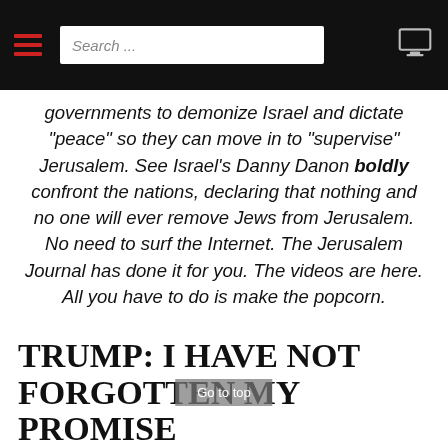Search ...
governments to demonize Israel and dictate "peace" so they can move in to "supervise" Jerusalem. See Israel's Danny Danon boldly confront the nations, declaring that nothing and no one will ever remove Jews from Jerusalem. No need to surf the Internet. The Jerusalem Journal has done it for you. The videos are here. All you have to do is make the popcorn.
Read more...
TRUMP: I HAVE NOT FORGOTTEN MY PROMISE